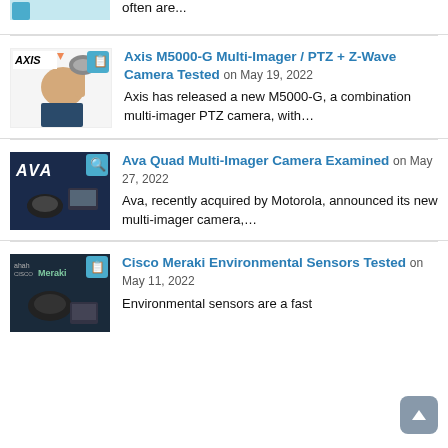often are...
[Figure (photo): Axis camera thumbnail with AXIS logo and clipboard icon]
Axis M5000-G Multi-Imager / PTZ + Z-Wave Camera Tested on May 19, 2022
Axis has released a new M5000-G, a combination multi-imager PTZ camera, with...
[Figure (photo): Ava camera thumbnail with AVA logo and search icon]
Ava Quad Multi-Imager Camera Examined on May 27, 2022
Ava, recently acquired by Motorola, announced its new multi-imager camera,...
[Figure (photo): Cisco Meraki thumbnail with Meraki logo and clipboard icon]
Cisco Meraki Environmental Sensors Tested on May 11, 2022
Environmental sensors are a fast...